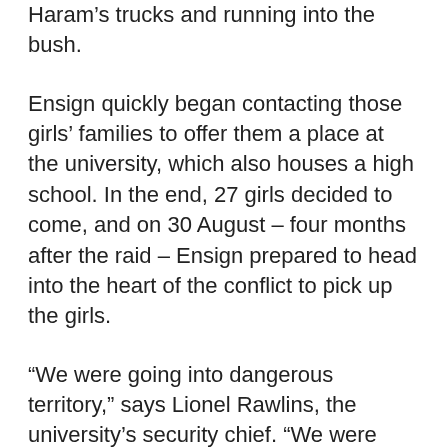Haram's trucks and running into the bush.
Ensign quickly began contacting those girls' families to offer them a place at the university, which also houses a high school. In the end, 27 girls decided to come, and on 30 August – four months after the raid – Ensign prepared to head into the heart of the conflict to pick up the girls.
“We were going into dangerous territory,” says Lionel Rawlins, the university’s security chief. “We were going into Boko Haram’s backyard to snatch the girls. The morning before we left, we went to the police and said, ‘Are we ready?’ And they said, ‘We’re not going. It’s too dangerous up there.’ So I went back and told Margee we were on our own. We looked at each